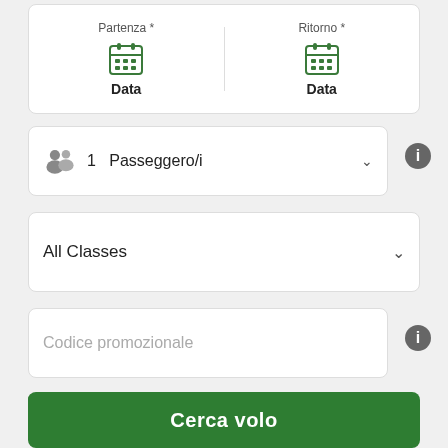[Figure (screenshot): Date picker row with Partenza and Ritorno calendar fields]
[Figure (screenshot): Passenger selector dropdown showing 1 Passeggero/i with info button]
[Figure (screenshot): Class selector dropdown showing All Classes]
[Figure (screenshot): Promotional code text input field with info button]
Prenota con le miglia
Cerca volo